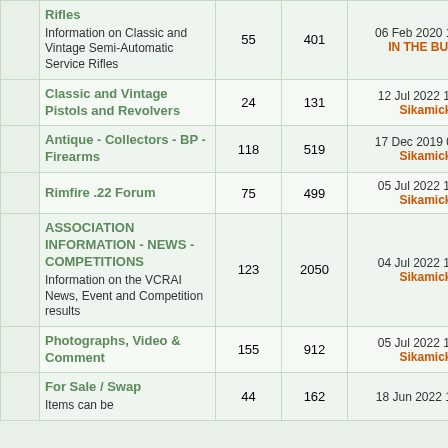|  | Forum | Topics | Posts | Last Post |
| --- | --- | --- | --- | --- |
|  | Rifles
Information on Classic and Vintage Semi-Automatic Service Rifles | 55 | 401 | 06 Feb 2020 16:11
IN THE BULL |
|  | Classic and Vintage Pistols and Revolvers | 24 | 131 | 12 Jul 2022 10:39
Sikamick |
|  | Antique - Collectors - BP - Firearms | 118 | 519 | 17 Dec 2019 00:19
Sikamick |
|  | Rimfire .22 Forum | 75 | 499 | 05 Jul 2022 17:17
Sikamick |
|  | ASSOCIATION INFORMATION - NEWS - COMPETITIONS
Information on the VCRAI News, Event and Competition results | 123 | 2050 | 04 Jul 2022 15:48
Sikamick |
|  | Photographs, Video & Comment | 155 | 912 | 05 Jul 2022 17:14
Sikamick |
|  | For Sale / Swap
Items can be | 44 | 162 | 18 Jun 2022 14:23 |